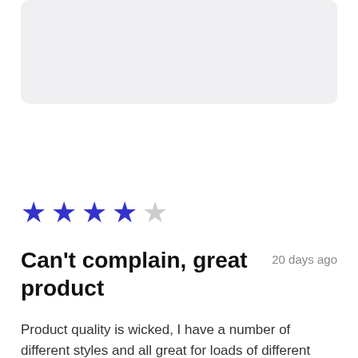[Figure (photo): Partial product image, light grey background placeholder, top portion of page]
★★★★☆ (4 out of 5 stars)
Can't complain, great product
20 days ago
Product quality is wicked, I have a number of different styles and all great for loads of different